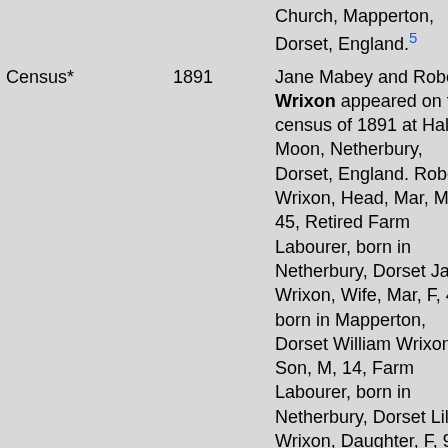| Event | Year | Description |
| --- | --- | --- |
|  |  | Church, Mapperton, Dorset, England.[5] |
| Census* | 1891 | Jane Mabey and Robert Wrixon appeared on the census of 1891 at Half Moon, Netherbury, Dorset, England. Robert Wrixon, Head, Mar, M, 45, Retired Farm Labourer, born in Netherbury, Dorset Jane Wrixon, Wife, Mar, F, 47, born in Mapperton, Dorset William Wrixon, Son, M, 14, Farm Labourer, born in Netherbury, Dorset Lily L Wrixon, Daughter, F, 9, Scholar, born in Beaminster, Dorset John Wrixon, Son, M, 6, Scholar, born in Beaminster, Dorset William Mabey, Father |